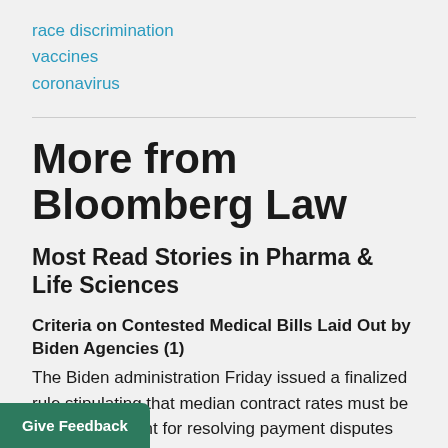race discrimination
vaccines
coronavirus
More from Bloomberg Law
Most Read Stories in Pharma & Life Sciences
Criteria on Contested Medical Bills Laid Out by Biden Agencies (1)
The Biden administration Friday issued a finalized rule stipulating that median contract rates must be the starting point for resolving payment disputes over health care and when patients don't have an
Give Feedback